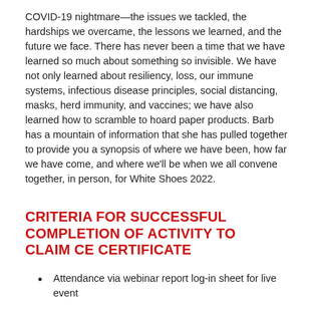COVID-19 nightmare—the issues we tackled, the hardships we overcame, the lessons we learned, and the future we face. There has never been a time that we have learned so much about something so invisible. We have not only learned about resiliency, loss, our immune systems, infectious disease principles, social distancing, masks, herd immunity, and vaccines; we have also learned how to scramble to hoard paper products. Barb has a mountain of information that she has pulled together to provide you a synopsis of where we have been, how far we have come, and where we'll be when we all convene together, in person, for White Shoes 2022.
CRITERIA FOR SUCCESSFUL COMPLETION OF ACTIVITY TO CLAIM CE CERTIFICATE
Attendance via webinar report log-in sheet for live event